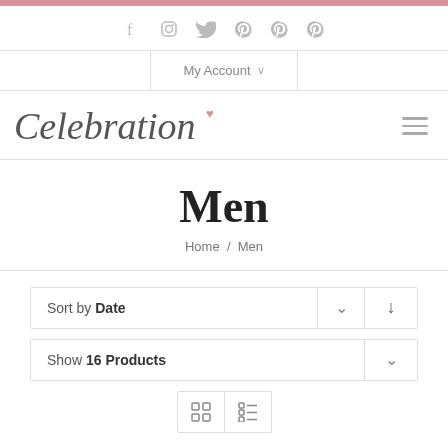Social media icons: Facebook, Instagram, Twitter, Pinterest, Pinterest, Pinterest
My Account
Celebration
Men
Home / Men
Sort by Date
Show 16 Products